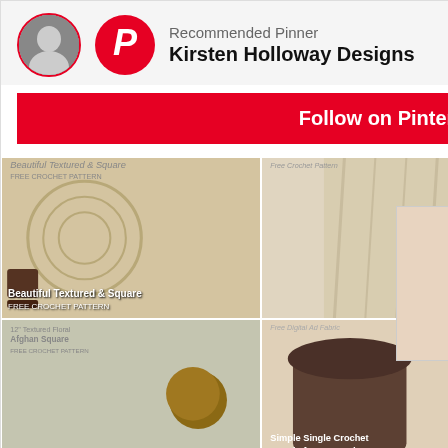[Figure (screenshot): Pinterest 'Recommended Pinner' popup overlay showing Kirsten Holloway Designs with a Follow on Pinterest red button and a 3x2 grid of crochet project images]
Round 1: Ch 144, join with sl st making a circle. Be careful not to twist the chain! Round 2: ch 1, hdc in each st around, join with sl st to first hdc. (144)
Round 3: ch 1, *3dc cluster, ch 1, sk st; repeat